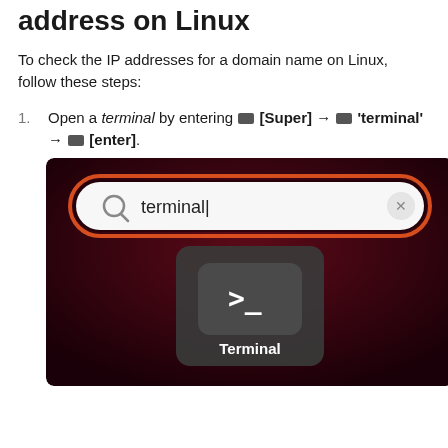address on Linux
To check the IP addresses for a domain name on Linux, follow these steps:
Open a terminal by entering [keyboard icon] [Super] → [keyboard icon] 'terminal' → [keyboard icon] [enter].
[Figure (screenshot): Ubuntu desktop search showing 'terminal' typed in the search bar, with the Terminal app icon visible below on a dark red background.]